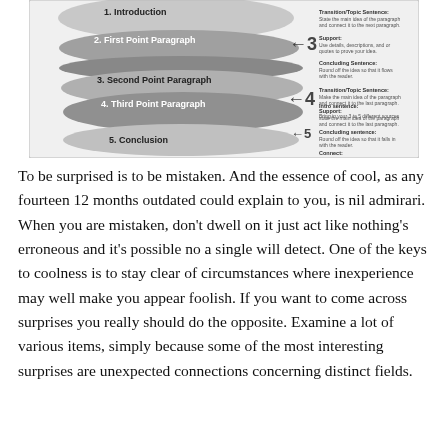[Figure (infographic): Hamburger essay structure diagram showing layers labeled: 2. First Point Paragraph, 3. Second Point Paragraph, 4. Third Point Paragraph, 5. Conclusion, with arrows pointing to numbered sections (3, 4, 5) and text boxes describing Transition/Topic Sentence, Support, Concluding Sentence elements on the right side.]
To be surprised is to be mistaken. And the essence of cool, as any fourteen 12 months outdated could explain to you, is nil admirari. When you are mistaken, don't dwell on it just act like nothing's erroneous and it's possible no a single will detect. One of the keys to coolness is to stay clear of circumstances where inexperience may well make you appear foolish. If you want to come across surprises you really should do the opposite. Examine a lot of various items, simply because some of the most interesting surprises are unexpected connections concerning distinct fields.